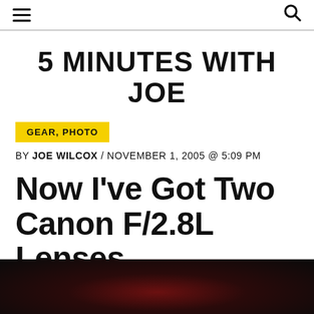≡  🔍
5 MINUTES WITH JOE
GEAR, PHOTO
By JOE WILCOX / NOVEMBER 1, 2005 @ 5:09 PM
Now I've Got Two Canon F/2.8L Lenses
[Figure (photo): Dark photo with reddish tones, partially visible at bottom of page]